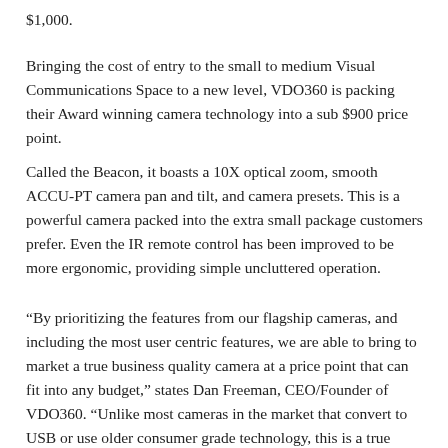$1,000.
Bringing the cost of entry to the small to medium Visual Communications Space to a new level, VDO360 is packing their Award winning camera technology into a sub $900 price point.
Called the Beacon, it boasts a 10X optical zoom, smooth ACCU-PT camera pan and tilt, and camera presets. This is a powerful camera packed into the extra small package customers prefer. Even the IR remote control has been improved to be more ergonomic, providing simple uncluttered operation.
“By prioritizing the features from our flagship cameras, and including the most user centric features, we are able to bring to market a true business quality camera at a price point that can fit into any budget,” states Dan Freeman, CEO/Founder of VDO360. “Unlike most cameras in the market that convert to USB or use older consumer grade technology, this is a true native USB camera with the rapid movement only available with advanced